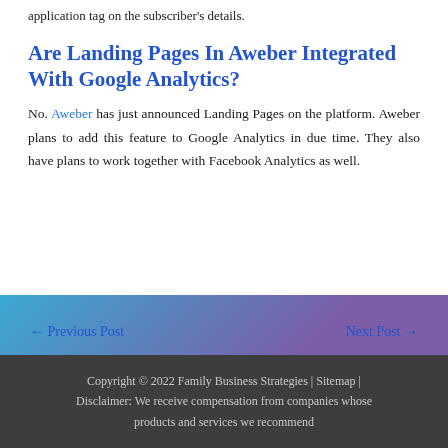application tag on the subscriber's details.
Are Landing Pages In Aweber Integrated With Google Analytics?
No. Aweber has just announced Landing Pages on the platform. Aweber plans to add this feature to Google Analytics in due time. They also have plans to work together with Facebook Analytics as well.
← Previous Post   Next Post →
Copyright © 2022 Family Business Strategies | Sitemap | Disclaimer: We receive compensation from companies whose products and services we recommend